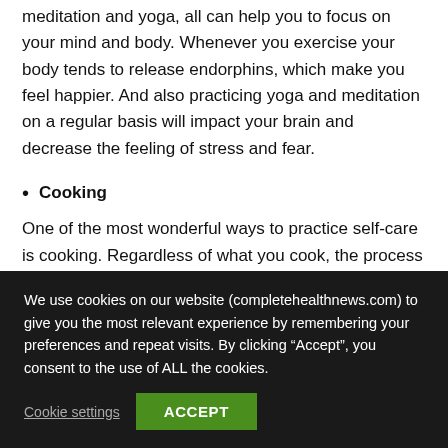meditation and yoga, all can help you to focus on your mind and body. Whenever you exercise your body tends to release endorphins, which make you feel happier. And also practicing yoga and meditation on a regular basis will impact your brain and decrease the feeling of stress and fear.
Cooking
One of the most wonderful ways to practice self-care is cooking. Regardless of what you cook, the process itself will provide you with satisfaction. Try cooking for someone you
We use cookies on our website (completehealthnews.com) to give you the most relevant experience by remembering your preferences and repeat visits. By clicking “Accept”, you consent to the use of ALL the cookies.